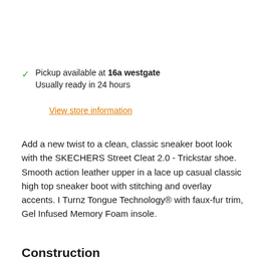✓ Pickup available at 16a westgate
Usually ready in 24 hours
View store information
Add a new twist to a clean, classic sneaker boot look with the SKECHERS Street Cleat 2.0 - Trickstar shoe. Smooth action leather upper in a lace up casual classic high top sneaker boot with stitching and overlay accents. I Turnz Tongue Technology® with faux-fur trim, Gel Infused Memory Foam insole.
Construction